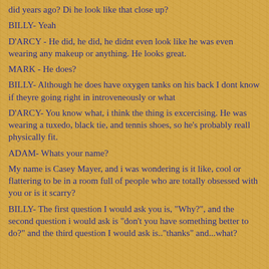did years ago? Di he look like that close up?
BILLY- Yeah
D'ARCY - He did, he did, he didnt even look like he was even wearing any makeup or anything. He looks great.
MARK - He does?
BILLY- Although he does have oxygen tanks on his back I dont know if theyre going right in introveneously or what
D'ARCY- You know what, i think the thing is excercising. He was wearing a tuxedo, black tie, and tennis shoes, so he's probably reall physically fit.
ADAM- Whats your name?
My name is Casey Mayer, and i was wondering is it like, cool or flattering to be in a room full of people who are totally obsessed with you or is it scarry?
BILLY- The first question I would ask you is, "Why?", and the second question i would ask is "don't you have something better to do?" and the third question I would ask is.."thanks" and...what?